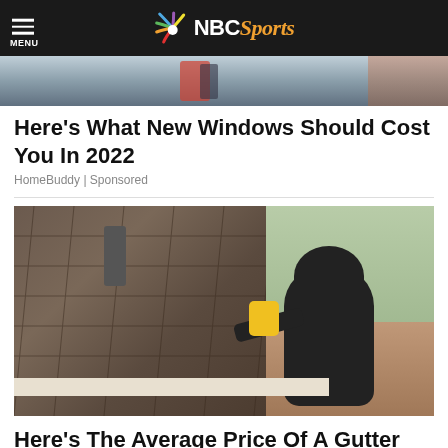NBC Sports
[Figure (photo): Top cropped photo showing person working on building exterior]
Here's What New Windows Should Cost You In 2022
HomeBuddy | Sponsored
[Figure (photo): Man in black hoodie working on roof gutters with a yellow power drill]
Here's The Average Price Of A Gutter